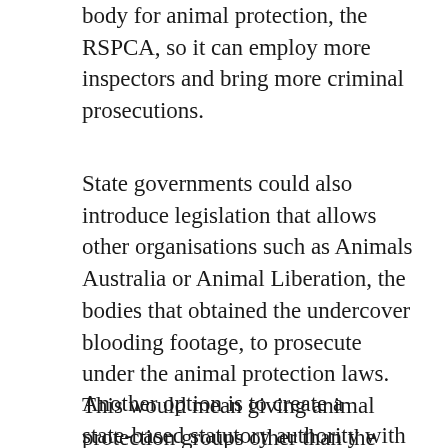body for animal protection, the RSPCA, so it can employ more inspectors and bring more criminal prosecutions.
State governments could also introduce legislation that allows other organisations such as Animals Australia or Animal Liberation, the bodies that obtained the undercover blooding footage, to prosecute under the animal protection laws. This would mean giving animal protection groups other than the RSPCA “standing”, which the government and courts have been reluctant to do.
Another option is to create a state-based statutory authority with the powers to investigate and prosecute breaches of animal